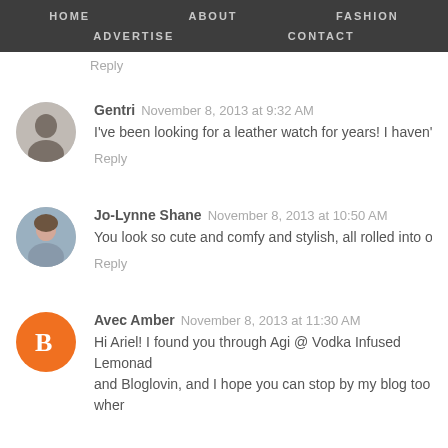HOME  ABOUT  FASHION  ADVERTISE  CONTACT
Reply
Gentri  November 8, 2013 at 9:32 AM
I've been looking for a leather watch for years! I haven't lov
Reply
Jo-Lynne Shane  November 8, 2013 at 10:50 AM
You look so cute and comfy and stylish, all rolled into one!! L
Reply
Avec Amber  November 8, 2013 at 11:30 AM
Hi Ariel! I found you through Agi @ Vodka Infused Lemonad and Bloglovin, and I hope you can stop by my blog too wher